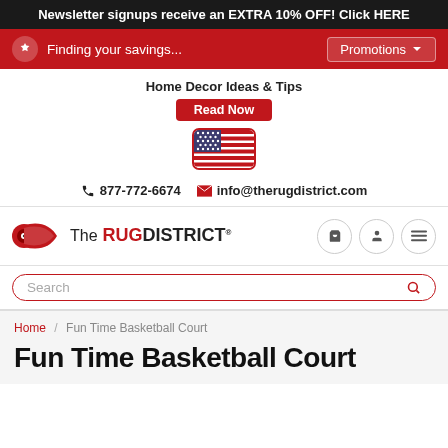Newsletter signups receive an EXTRA 10% OFF! Click HERE
Finding your savings...
Promotions
Home Decor Ideas & Tips
Read Now
[Figure (illustration): American flag icon in a rounded rectangle with red border]
877-772-6674   info@therugdistrict.com
[Figure (logo): The Rug District logo with a rolled rug graphic and stylized text]
Search
Home / Fun Time Basketball Court
Fun Time Basketball Court